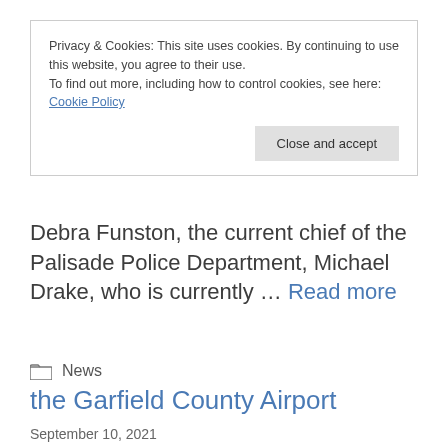Privacy & Cookies: This site uses cookies. By continuing to use this website, you agree to their use.
To find out more, including how to control cookies, see here:
Cookie Policy
Close and accept
Debra Funston, the current chief of the Palisade Police Department, Michael Drake, who is currently … Read more
News
the Garfield County Airport
September 10, 2021